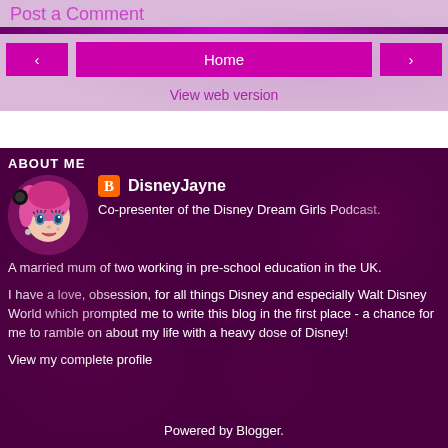Post a Comment
Home
View web version
ABOUT ME
DisneyJayne
Co-presenter of the Disney Dream Girls Podcast.
A married mum of two working in pre-school education in the UK.
I have a love, obsession, for all things Disney and especially Walt Disney World which prompted me to write this blog in the first place - a chance for me to ramble on about my life with a heavy dose of Disney!
View my complete profile
Powered by Blogger.